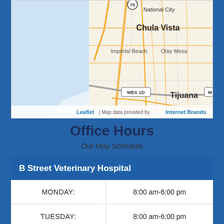[Figure (map): Map showing area around Chula Vista, National City, Imperial Beach, Otay Mesa, and Tijuana in Southern California/Baja California. Shows road network with orange roads on white/light background, water areas in light blue. Labels include National City (with route 75 marker), Chula Vista, Imperial Beach, Otay Mesa, MEX 1D road marker, and Tijuana. Map attribution: Leaflet | Map data provided by Internet Brands.]
Office Hours
Our May Schedule
| B Street Veterinary Hospital |  |
| --- | --- |
| MONDAY: | 8:00 am-6:00 pm |
| TUESDAY: | 8:00 am-6:00 pm |